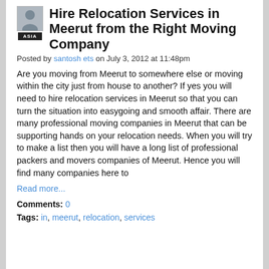Hire Relocation Services in Meerut from the Right Moving Company
Posted by santosh ets on July 3, 2012 at 11:48pm
Are you moving from Meerut to somewhere else or moving within the city just from house to another? If yes you will need to hire relocation services in Meerut so that you can turn the situation into easygoing and smooth affair. There are many professional moving companies in Meerut that can be supporting hands on your relocation needs. When you will try to make a list then you will have a long list of professional packers and movers companies of Meerut. Hence you will find many companies here to
Read more...
Comments: 0
Tags: in, meerut, relocation, services